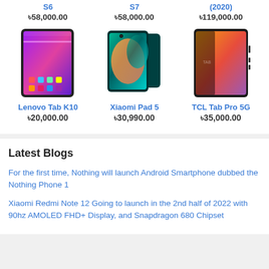S6 ৳58,000.00
S7 ৳58,000.00
(2020) ৳119,000.00
[Figure (photo): Lenovo Tab K10 tablet product image showing colorful display]
Lenovo Tab K10 ৳20,000.00
[Figure (photo): Xiaomi Pad 5 tablet in dark teal color showing abstract wallpaper]
Xiaomi Pad 5 ৳30,990.00
[Figure (photo): TCL Tab Pro 5G tablet showing colorful display]
TCL Tab Pro 5G ৳35,000.00
Latest Blogs
For the first time, Nothing will launch Android Smartphone dubbed the Nothing Phone 1
Xiaomi Redmi Note 12 Going to launch in the 2nd half of 2022 with 90hz AMOLED FHD+ Display, and Snapdragon 680 Chipset